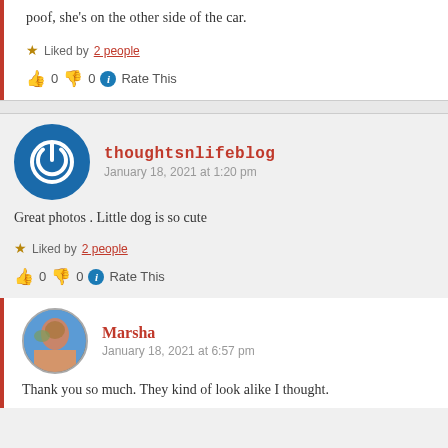poof, she's on the other side of the car.
★ Liked by 2 people
👍 0 👎 0 ℹ Rate This
thoughtsnlifeblog
January 18, 2021 at 1:20 pm
Great photos . Little dog is so cute
★ Liked by 2 people
👍 0 👎 0 ℹ Rate This
Marsha
January 18, 2021 at 6:57 pm
Thank you so much. They kind of look alike I thought.